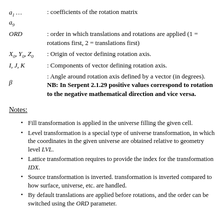a1 ... a9 : coefficients of the rotation matrix
ORD : order in which translations and rotations are applied (1 = rotations first, 2 = translations first)
X0, Y0, Z0 : Origin of vector defining rotation axis.
I, J, K : Components of vector defining rotation axis.
β : Angle around rotation axis defined by a vector (in degrees). NB: In Serpent 2.1.29 positive values correspond to rotation to the negative mathematical direction and vice versa.
Notes:
Fill transformation is applied in the universe filling the given cell.
Level transformation is a special type of universe transformation, in which the coordinates in the given universe are obtained relative to geometry level LVL.
Lattice transformation requires to provide the index for the transformation IDX.
Source transformation is inverted. transformation is inverted compared to how surface, universe, etc. are handled.
By default translations are applied before rotations, and the order can be switched using the ORD parameter.